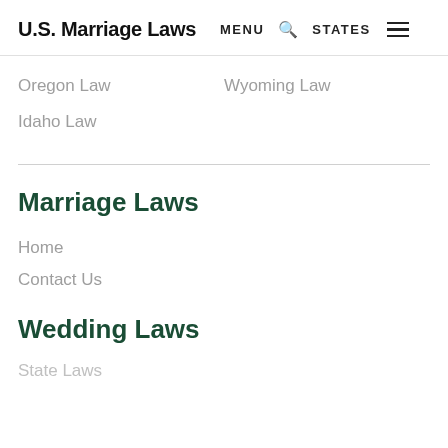U.S. Marriage Laws  MENU  🔍  STATES  ☰
Oregon Law
Wyoming Law
Idaho Law
Marriage Laws
Home
Contact Us
Wedding Laws
State Laws